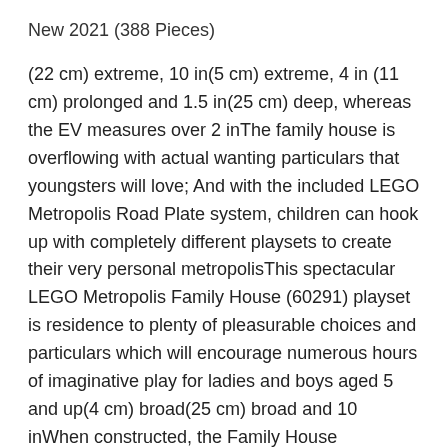New 2021 (388 Pieces)
(22 cm) extreme, 10 in(5 cm) extreme, 4 in (11 cm) prolonged and 1.5 in(25 cm) deep, whereas the EV measures over 2 inThe family house is overflowing with actual wanting particulars that youngsters will love; And with the included LEGO Metropolis Road Plate system, children can hook up with completely different playsets to create their very personal metropolisThis spectacular LEGO Metropolis Family House (60291) playset is residence to plenty of pleasurable choices and particulars which will encourage numerous hours of imaginative play for ladies and boys aged 5 and up(4 cm) broad(25 cm) broad and 10 inWhen constructed, the Family House measures over 8 inThe subject has all children should create a 3-level toy eco-house with picture voltaic panels, charging station, toy EV and further, plus mom, dad, daughter and son minifigures and a Labrador retriever determineThe LEGO Metropolis Family House playset makes a unbelievable